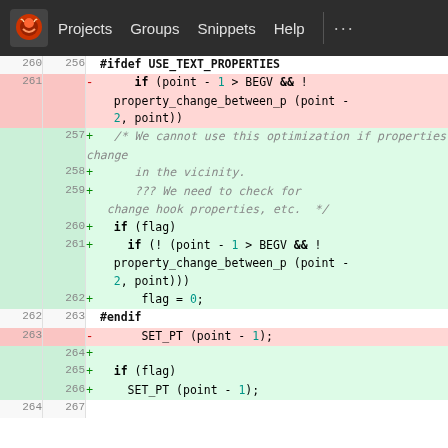[Figure (screenshot): GitLab navbar with logo, Projects, Groups, Snippets, Help links on dark background]
| old# | new# | code |
| --- | --- | --- |
| 260 | 256 | #ifdef USE_TEXT_PROPERTIES |
| 261 |  | - if (point - 1 > BEGV && ! property_change_between_p (point - 2, point)) |
|  | 257 | + /* We cannot use this optimization if properties change |
|  | 258 | + in the vicinity. |
|  | 259 | + ??? We need to check for change hook properties, etc. */ |
|  | 260 | + if (flag) |
|  | 261 | + if (! (point - 1 > BEGV && ! property_change_between_p (point - 2, point))) |
|  | 262 | + flag = 0; |
| 262 | 263 | #endif |
| 263 |  | - SET_PT (point - 1); |
|  | 264 | + |
|  | 265 | + if (flag) |
|  | 266 | + SET_PT (point - 1); |
| 264 | 267 |  |